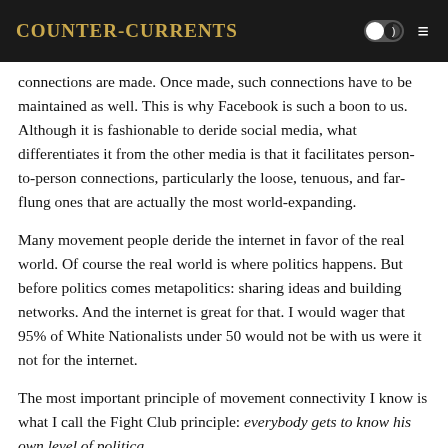Counter-Currents
connections are made. Once made, such connections have to be maintained as well. This is why Facebook is such a boon to us. Although it is fashionable to deride social media, what differentiates it from the other media is that it facilitates person-to-person connections, particularly the loose, tenuous, and far-flung ones that are actually the most world-expanding.
Many movement people deride the internet in favor of the real world. Of course the real world is where politics happens. But before politics comes metapolitics: sharing ideas and building networks. And the internet is great for that. I would wager that 95% of White Nationalists under 50 would not be with us were it not for the internet.
The most important principle of movement connectivity I know is what I call the Fight Club principle: everybody gets to know his own level of politica...